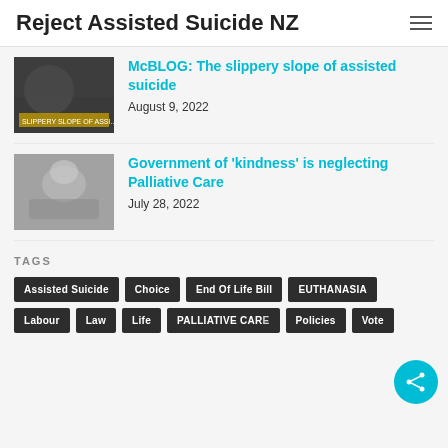Reject Assisted Suicide NZ
McBLOG: The slippery slope of assisted suicide
August 9, 2022
[Figure (photo): Thumbnail image of a man with text overlay 'SLIPPERY SLOPE OF ASSI...']
Government of 'kindness' is neglecting Palliative Care
July 28, 2022
[Figure (photo): Black and white photo of a person lying in a hospital bed]
TAGS
Assisted Suicide
Choice
End Of Life Bill
EUTHANASIA
Labour
Law
Life
PALLIATIVE CARE
Policies
Vote